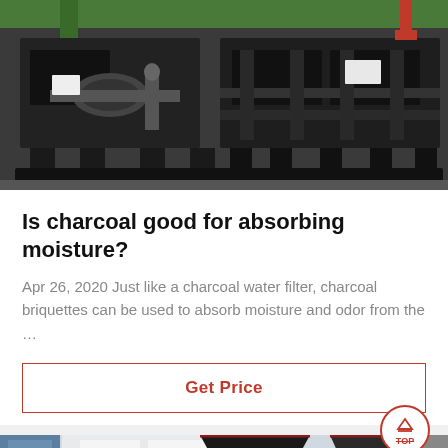[Figure (photo): Industrial charcoal briquette machine / press equipment, large black metal machinery on a factory floor, with green overhead crane structure visible at top.]
Is charcoal good for absorbing moisture?
Apr 26, 2020 Just like a charcoal water filter, charcoal briquettes can be used to absorb moisture and odor from the …
Get Price
[Figure (photo): Partial view of industrial equipment or building exterior with blue and white panels and a dark funnel or hopper shape.]